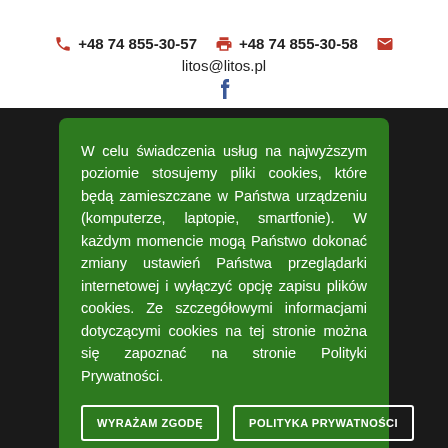+48 74 855-30-57   +48 74 855-30-58   litos@litos.pl
W celu świadczenia usług na najwyższym poziomie stosujemy pliki cookies, które będą zamieszczane w Państwa urządzeniu (komputerze, laptopie, smartfonie). W każdym momencie mogą Państwo dokonać zmiany ustawień Państwa przeglądarki internetowej i wyłączyć opcję zapisu plików cookies. Ze szczegółowymi informacjami dotyczącymi cookies na tej stronie można się zapoznać na stronie Polityki Prywatności.
WYRAŻAM ZGODĘ
POLITYKA PRYWATNOŚCI